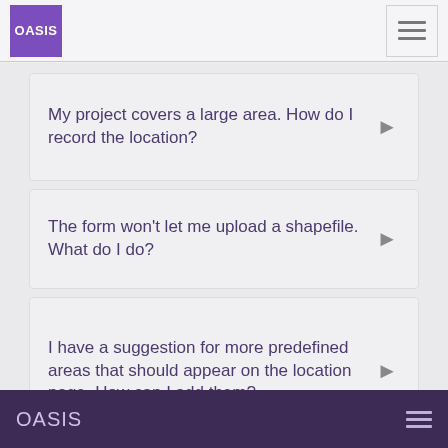OASIS
My project covers a large area. How do I record the location?
The form won't let me upload a shapefile. What do I do?
I have a suggestion for more predefined areas that should appear on the location page. How can I add them?
Are you going to add better base
OASIS